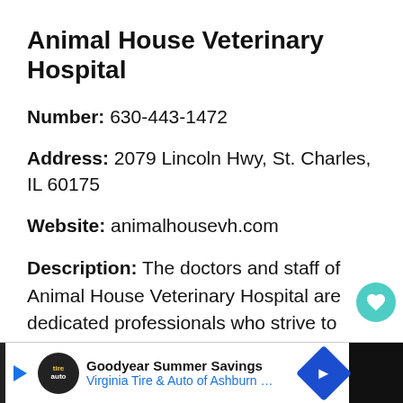Animal House Veterinary Hospital
Number: 630-443-1472
Address: 2079 Lincoln Hwy, St. Charles, IL 60175
Website: animalhousevh.com
Description: The doctors and staff of Animal House Veterinary Hospital are dedicated professionals who strive to provide compassionate veterinary medicine to
[Figure (other): Advertisement banner: Goodyear Summer Savings - Virginia Tire & Auto of Ashburn with Goodyear and navigation arrow logos]